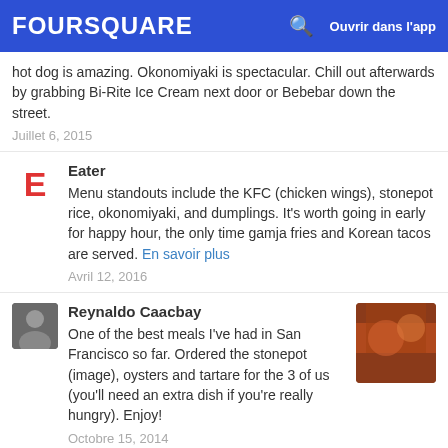FOURSQUARE  Ouvrir dans l'app
hot dog is amazing. Okonomiyaki is spectacular. Chill out afterwards by grabbing Bi-Rite Ice Cream next door or Bebebar down the street.
Juillet 6, 2015
Eater
Menu standouts include the KFC (chicken wings), stonepot rice, okonomiyaki, and dumplings. It's worth going in early for happy hour, the only time gamja fries and Korean tacos are served. En savoir plus
Avril 12, 2016
Reynaldo Caacbay
One of the best meals I've had in San Francisco so far. Ordered the stonepot (image), oysters and tartare for the 3 of us (you'll need an extra dish if you're really hungry). Enjoy!
Octobre 15, 2014
Marcel Molina
Their shaved ices are great. The flavors rotate daily. The flakes of ice have a nice texture as they melt in your mouth. It's refreshing & lighter than most desserts so I